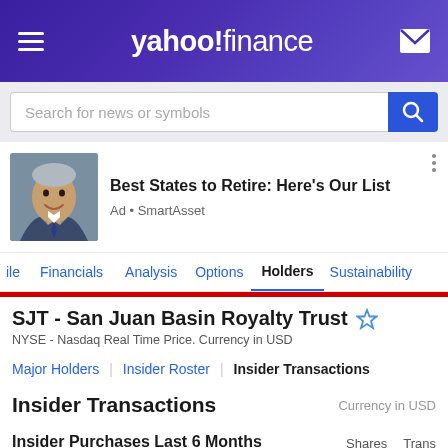yahoo!finance
Search for news or symbols
[Figure (photo): Advertisement photo of a smiling middle-aged man in a suit]
Best States to Retire: Here's Our List
Ad • SmartAsset
ile  Financials  Analysis  Options  Holders  Sustainability
SJT - San Juan Basin Royalty Trust
NYSE - Nasdaq Real Time Price. Currency in USD
Major Holders | Insider Roster | Insider Transactions
Insider Transactions
Currency in USD
Insider Purchases Last 6 Months
Shares  Trans